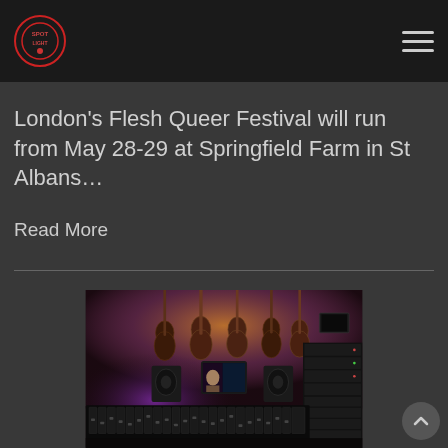Navigation header with logo and hamburger menu
London’s Flesh Queer Festival will run from May 28-29 at Springfield Farm in St Albans…
Read More
[Figure (photo): Music recording studio with electric guitars mounted on wall illuminated by warm orange/purple lighting, mixing console in foreground, monitor screens and audio equipment visible]